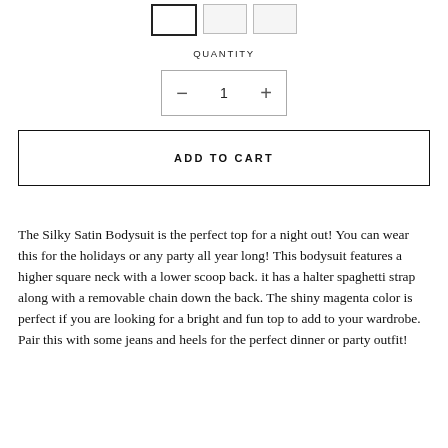[Figure (other): Three size selector buttons partially visible at top]
QUANTITY
[Figure (other): Quantity stepper control showing minus button, value 1, plus button]
ADD TO CART
The Silky Satin Bodysuit is the perfect top for a night out! You can wear this for the holidays or any party all year long! This bodysuit features a higher square neck with a lower scoop back. it has a halter spaghetti strap along with a removable chain down the back.  The shiny magenta color is perfect if you are looking for a bright and fun top to add to your wardrobe. Pair this with some jeans and heels for the perfect dinner or party outfit!